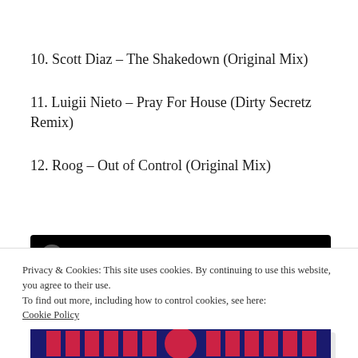10. Scott Diaz – The Shakedown (Original Mix)
11. Luigii Nieto – Pray For House (Dirty Secretz Remix)
12. Roog – Out of Control (Original Mix)
[Figure (screenshot): Black video player bar with circular play button icon]
Privacy & Cookies: This site uses cookies. By continuing to use this website, you agree to their use.
To find out more, including how to control cookies, see here:
Cookie Policy
Close and accept